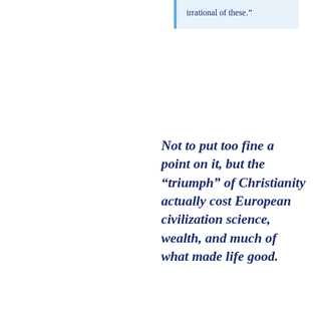irrational of these."
Not to put too fine a point on it, but the “triumph” of Christianity actually cost European civilization science, wealth, and much of what made life good.